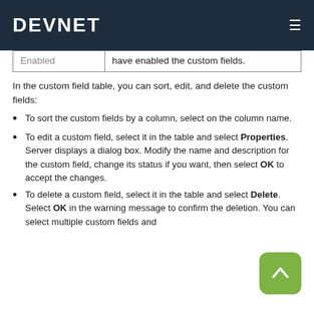DEVNET
| Enabled | have enabled the custom fields. |
In the custom field table, you can sort, edit, and delete the custom fields:
To sort the custom fields by a column, select on the column name.
To edit a custom field, select it in the table and select Properties. Server displays a dialog box. Modify the name and description for the custom field, change its status if you want, then select OK to accept the changes.
To delete a custom field, select it in the table and select Delete. Select OK in the warning message to confirm the deletion. You can select multiple custom fields and